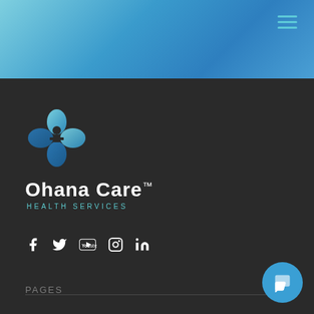[Figure (logo): Ohana Care Health Services logo with teal flower/person icon and brand name]
[Figure (infographic): Social media icons: Facebook, Twitter, YouTube, Instagram, LinkedIn]
PAGES